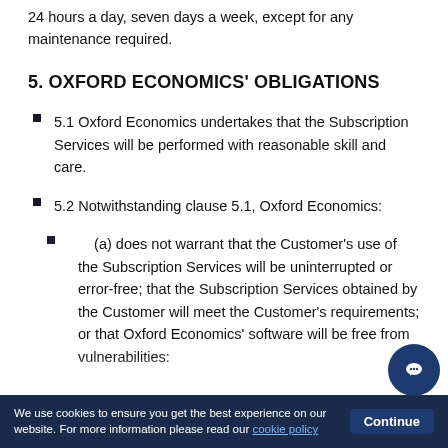24 hours a day, seven days a week, except for any maintenance required.
5. OXFORD ECONOMICS' OBLIGATIONS
5.1 Oxford Economics undertakes that the Subscription Services will be performed with reasonable skill and care.
5.2 Notwithstanding clause 5.1, Oxford Economics:
(a) does not warrant that the Customer's use of the Subscription Services will be uninterrupted or error-free; that the Subscription Services obtained by the Customer will meet the Customer's requirements; or that Oxford Economics' software will be free from vulnerabilities:
We use cookies to ensure you get the best experience on our website. For more information please read our cookie policy